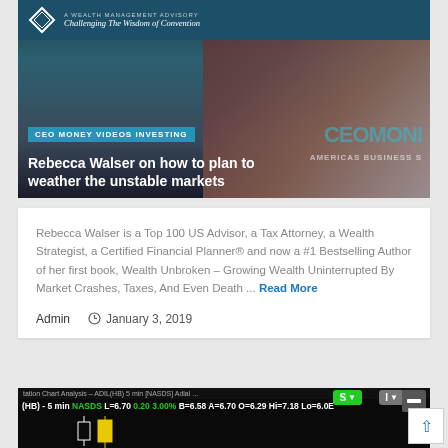[Figure (screenshot): Hero image showing Rebecca Walser in a video thumbnail. Top banner shows diamond logo with 'A WEALTH MANAGEMENT ADVISORY' and tagline 'Challenging The Wisdom of Convention'. Background shows a woman in white blouse in front of bookshelf. Teal overlay label reads 'CEO MONEY VIDEOS INVESTING'. Title text: 'Rebecca Walser on how to plan to weather the unstable markets'. CEO Money and Americas Business branding visible on right side.]
Rebecca Walser is a Top 100 US Advisor, a Tax Attorney, a Wealth Strategist, a Certified Financial Planner® and now a #1 Bestselling Author of her first book, Wealth Unbroken – Growing Wealth Uninterrupted By Market Crashes, Taxes, And Even Death ... Read More
Admin   January 3, 2019
[Figure (screenshot): Stock trading chart strip showing: 'tation Chart Analysis – ADIL(HB) 5 min [NASDS] Adial ...' in header. Data bar shows: (HB) - 5 min NASDS L=6.70 0.20 3.00% B=6.58 A=6.70 O=6.29 Hi=7.18 Lo=6.0E. Candlestick chart with yellow and white candles on black background. S button (green) and I button (gray) visible.]